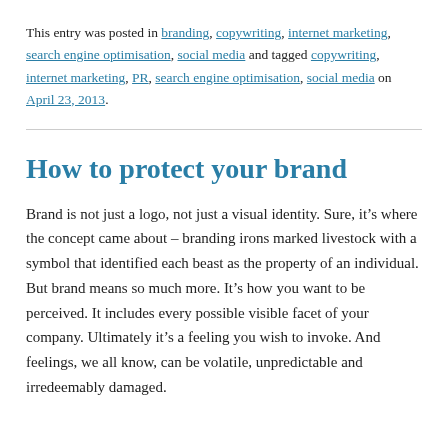This entry was posted in branding, copywriting, internet marketing, search engine optimisation, social media and tagged copywriting, internet marketing, PR, search engine optimisation, social media on April 23, 2013.
How to protect your brand
Brand is not just a logo, not just a visual identity. Sure, it’s where the concept came about – branding irons marked livestock with a symbol that identified each beast as the property of an individual. But brand means so much more. It’s how you want to be perceived. It includes every possible visible facet of your company. Ultimately it’s a feeling you wish to invoke. And feelings, we all know, can be volatile, unpredictable and irredeemably damaged.